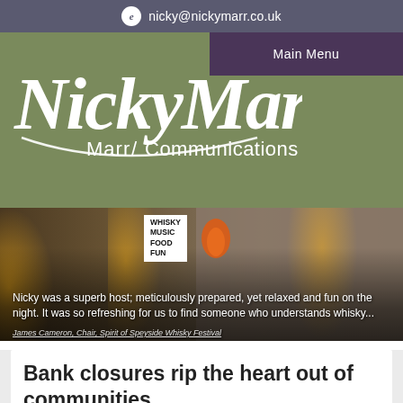e nicky@nickymarr.co.uk
[Figure (screenshot): Nicky Marr Communications logo on olive green background with Main Menu button]
[Figure (photo): Woman hosting at Whisky Music Food Fun event with candles, stone wall background. Overlay text: 'Nicky was a superb host; meticulously prepared, yet relaxed and fun on the night. It was so refreshing for us to find someone who understands whisky...' James Cameron, Chair, Spirit of Speyside Whisky Festival]
Bank closures rip the heart out of communities.